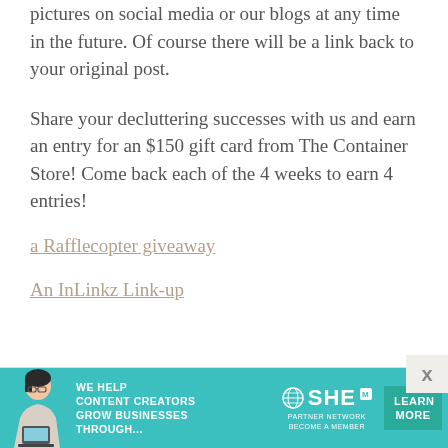pictures on social media or our blogs at any time in the future. Of course there will be a link back to your original post.
Share your decluttering successes with us and earn an entry for an $150 gift card from The Container Store! Come back each of the 4 weeks to earn 4 entries!
a Rafflecopter giveaway
An InLinkz Link-up
[Figure (infographic): Teal advertisement banner for SHE Media Partner Network with a woman using a laptop, headline 'We Help Content Creators Grow Businesses Through...', SHE logo, and 'Learn More' button]